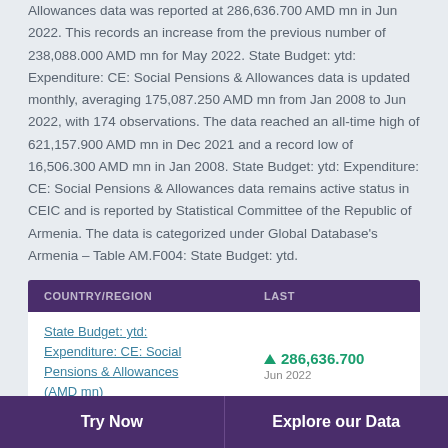Allowances data was reported at 286,636.700 AMD mn in Jun 2022. This records an increase from the previous number of 238,088.000 AMD mn for May 2022. State Budget: ytd: Expenditure: CE: Social Pensions & Allowances data is updated monthly, averaging 175,087.250 AMD mn from Jan 2008 to Jun 2022, with 174 observations. The data reached an all-time high of 621,157.900 AMD mn in Dec 2021 and a record low of 16,506.300 AMD mn in Jan 2008. State Budget: ytd: Expenditure: CE: Social Pensions & Allowances data remains active status in CEIC and is reported by Statistical Committee of the Republic of Armenia. The data is categorized under Global Database's Armenia – Table AM.F004: State Budget: ytd.
| COUNTRY/REGION | LAST |
| --- | --- |
| State Budget: ytd: Expenditure: CE: Social Pensions & Allowances (AMD mn) | 286,636.700
Jun 2022 |
Try Now
Explore our Data